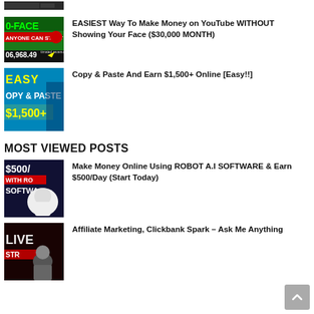[Figure (screenshot): Partial thumbnail of a video at the top, partially cut off, dark/crowd image]
[Figure (screenshot): Video thumbnail with green/black background, text: 0-FACE, ANYONE CAN START, timated revenue, 06,968.49 with yellow arrow]
EASIEST Way To Make Money on YouTube WITHOUT Showing Your Face ($30,000 MONTH)
[Figure (screenshot): Video thumbnail with blue/cyan background, text: EASY, OPY & PASTE, $1,500+]
Copy & Paste And Earn $1,500+ Online [Easy!!]
MOST VIEWED POSTS
[Figure (screenshot): Video thumbnail with white robot and text $500/, WITH RO, SOFTWA on dark background]
Make Money Online Using ROBOT A.I SOFTWARE & Earn $500/Day (Start Today)
[Figure (screenshot): Video thumbnail with dark background, LIVE STREAM text and person]
Affiliate Marketing, Clickbank Spark – Ask Me Anything